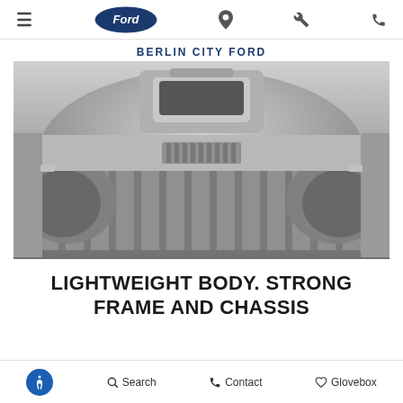Berlin City Ford — navigation bar with Ford logo, hamburger menu, location, wrench, and phone icons
BERLIN CITY FORD
[Figure (photo): Black and white close-up photo of the interior bed of a Ford pickup truck, showing aluminum ribbed bed floor, wheel wells, and cab back wall, viewed from the rear looking forward.]
LIGHTWEIGHT BODY. STRONG FRAME AND CHASSIS
Search   Contact   Glovebox — bottom navigation bar with accessibility icon